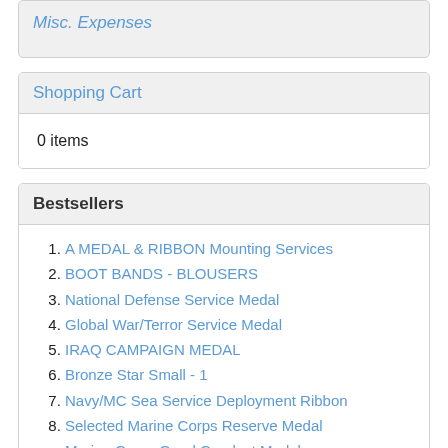Misc. Expenses
Shopping Cart
0 items
Bestsellers
A MEDAL & RIBBON Mounting Services
BOOT BANDS - BLOUSERS
National Defense Service Medal
Global War/Terror Service Medal
IRAQ CAMPAIGN MEDAL
Bronze Star Small - 1
Navy/MC Sea Service Deployment Ribbon
Selected Marine Corps Reserve Medal
Marine Corps Good Conduct Medal